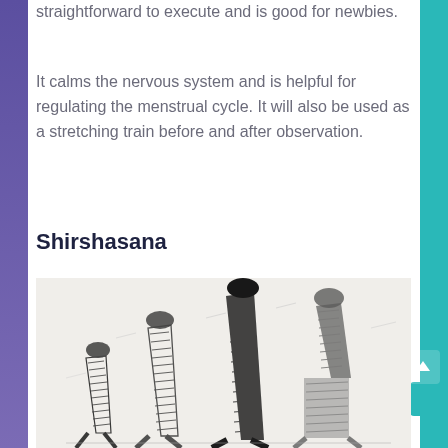straightforward to execute and is good for newbies.
It calms the nervous system and is helpful for regulating the menstrual cycle. It will also be used as a stretching train before and after observation.
Shirshasana
[Figure (illustration): Sketch illustration showing multiple figures performing Shirshasana (headstand yoga pose), depicted in a hand-drawn crosshatch style with dark ink strokes showing people in various stages of the headstand position.]